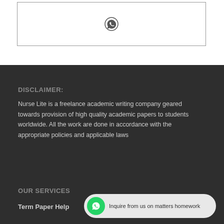[Figure (other): WhatsApp icon inside a bordered box in the white top section of the page]
DISCLAIMER:
Nurse Lite is a freelance academic writing company geared towards provision of high quality academic papers to students worldwide. All the work are done in accordance with the appropriate policies and applicable laws
OUR SERVICES
Term Paper Help
[Figure (other): WhatsApp chat bubble with green icon and text: Inquire from us on matters homework]